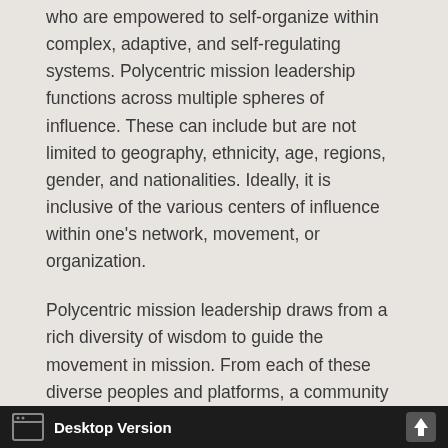who are empowered to self-organize within complex, adaptive, and self-regulating systems. Polycentric mission leadership functions across multiple spheres of influence. These can include but are not limited to geography, ethnicity, age, regions, gender, and nationalities. Ideally, it is inclusive of the various centers of influence within one's network, movement, or organization.
Polycentric mission leadership draws from a rich diversity of wisdom to guide the movement in mission. From each of these diverse peoples and platforms, a community is formed, rooted in Christ and his tri-fold identity. This community operates in a collective fashion.
Desktop Version